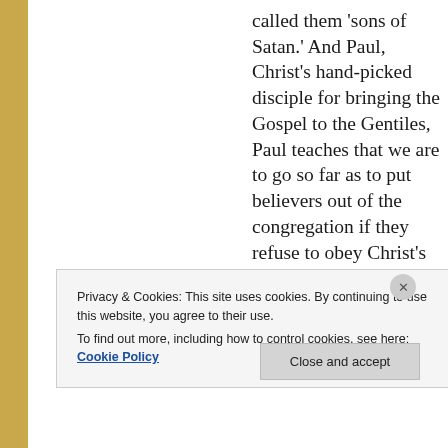called them 'sons of Satan.' And Paul, Christ's hand-picked disciple for bringing the Gospel to the Gentiles, Paul teaches that we are to go so far as to put believers out of the congregation if they refuse to obey Christ's commands. So, tell me, Mikey, what would you have a follower of
Privacy & Cookies: This site uses cookies. By continuing to use this website, you agree to their use.
To find out more, including how to control cookies, see here: Cookie Policy
Close and accept